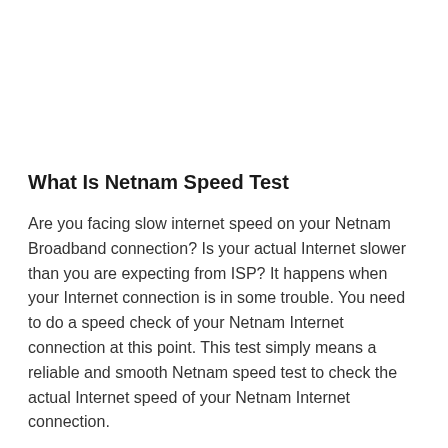What Is Netnam Speed Test
Are you facing slow internet speed on your Netnam Broadband connection? Is your actual Internet slower than you are expecting from ISP? It happens when your Internet connection is in some trouble. You need to do a speed check of your Netnam Internet connection at this point. This test simply means a reliable and smooth Netnam speed test to check the actual Internet speed of your Netnam Internet connection.